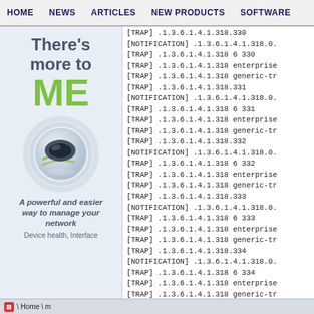HOME   NEWS   ARTICLES   NEW PRODUCTS   SOFTWARE
[Figure (screenshot): Left panel advertisement showing 'There's more to ME' with a green globe logo and tagline 'A powerful and easier way to manage your network. Device health, Interface']
[TRAP] .1.3.6.1.4.1.318.330
[NOTIFICATION] .1.3.6.1.4.1.318.0.
[TRAP] .1.3.6.1.4.1.318 6 330
[TRAP] .1.3.6.1.4.1.318 enterprise
[TRAP] .1.3.6.1.4.1.318 generic-tr
[TRAP] .1.3.6.1.4.1.318.331
[NOTIFICATION] .1.3.6.1.4.1.318.0.
[TRAP] .1.3.6.1.4.1.318 6 331
[TRAP] .1.3.6.1.4.1.318 enterprise
[TRAP] .1.3.6.1.4.1.318 generic-tr
[TRAP] .1.3.6.1.4.1.318.332
[NOTIFICATION] .1.3.6.1.4.1.318.0.
[TRAP] .1.3.6.1.4.1.318 6 332
[TRAP] .1.3.6.1.4.1.318 enterprise
[TRAP] .1.3.6.1.4.1.318 generic-tr
[TRAP] .1.3.6.1.4.1.318.333
[NOTIFICATION] .1.3.6.1.4.1.318.0.
[TRAP] .1.3.6.1.4.1.318 6 333
[TRAP] .1.3.6.1.4.1.318 enterprise
[TRAP] .1.3.6.1.4.1.318 generic-tr
[TRAP] .1.3.6.1.4.1.318.334
[NOTIFICATION] .1.3.6.1.4.1.318.0.
[TRAP] .1.3.6.1.4.1.318 6 334
[TRAP] .1.3.6.1.4.1.318 enterprise
[TRAP] .1.3.6.1.4.1.318 generic-tr
[TRAP] .1.3.6.1.4.1.318.335
⊠ \ Home \ m